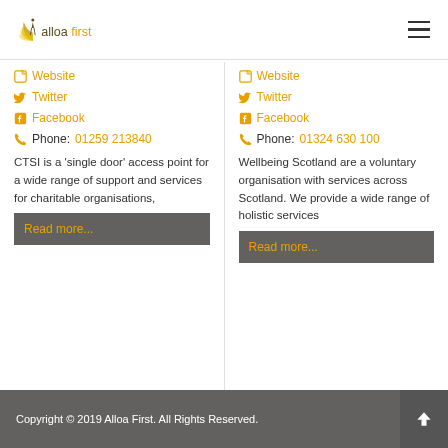Alloa First
Website
Twitter
Facebook
Phone: 01259 213840
CTSI is a ‘single door’ access point for a wide range of support and services for charitable organisations,
Read more...
Website
Twitter
Facebook
Phone: 01324 630 100
Wellbeing Scotland are a voluntary organisation with services across Scotland. We provide a wide range of holistic services
Read more...
Copyright © 2019 Alloa First. All Rights Reserved.